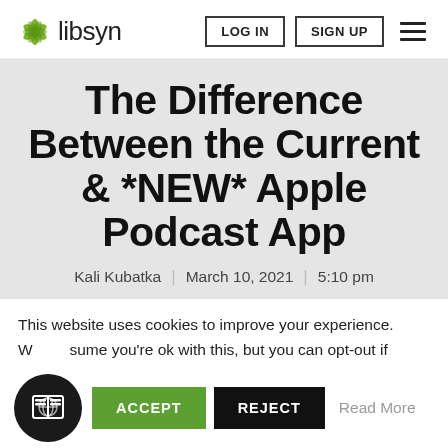[Figure (logo): Libsyn logo with green leaf/asterisk icon and 'libsyn' text]
LOG IN   SIGN UP   ≡
The Difference Between the Current & *NEW* Apple Podcast App
Kali Kubatka  |  March 10, 2021  |  5:10 pm
This website uses cookies to improve your experience. We assume you're ok with this, but you can opt-out if
ACCEPT   REJECT   Read More